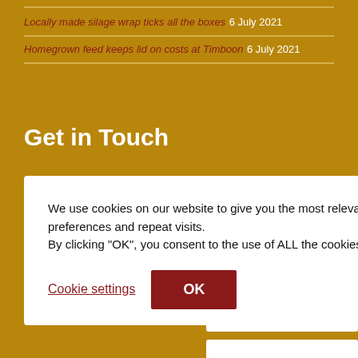Locally made silage wrap ticks all the boxes 6 July 2021
Homegrown feed keeps lid on costs at Timboon 6 July 2021
Get in Touch
We use cookies on our website to give you the most relevant experience by remembering your preferences and repeat visits. By clicking "OK", you consent to the use of ALL the cookies. Cookie settings OK